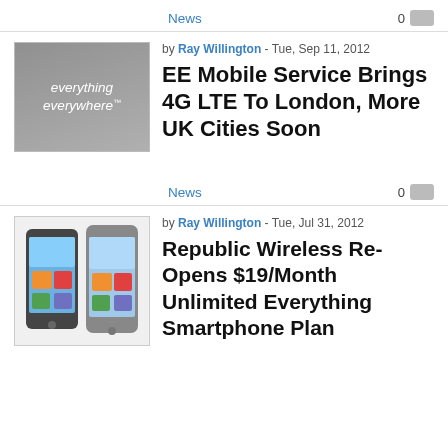News
0
[Figure (logo): Everything Everywhere logo on grey background]
by Ray Willington - Tue, Sep 11, 2012
EE Mobile Service Brings 4G LTE To London, More UK Cities Soon
News
0
[Figure (photo): Two smartphones side by side on white background]
by Ray Willington - Tue, Jul 31, 2012
Republic Wireless Re-Opens $19/Month Unlimited Everything Smartphone Plan